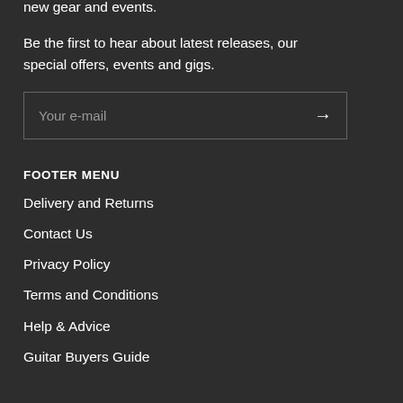new gear and events.
Be the first to hear about latest releases, our special offers, events and gigs.
[Figure (other): Email input field with placeholder text 'Your e-mail' and a right arrow button]
FOOTER MENU
Delivery and Returns
Contact Us
Privacy Policy
Terms and Conditions
Help & Advice
Guitar Buyers Guide